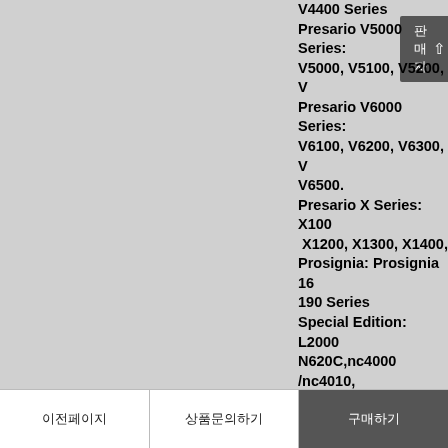V4400 Series Presario V5000 Series: V5000, V5100, V5200, V... Presario V6000 Series: V6100, V6200, V6300, V... V6500. Presario X Series: X100... X1200, X1300, X1400, Prosignia: Prosignia 16... 190 Series Special Edition: L2000 N620C,nc4000 /nc4010, nc/w8000,nx7000 series nx5000,tc1000,tc1100, HP nx4800,B3800/nx71... HP nx6110/nc6110, HP nx6120/nc6120, HP nx7200, HP nx6115,HP nx6120 HP nx4200,nx4300 HP 500,HP 520,HP 530, HP 2210b,HP 2510p,HP...
이전페이지    상품문의하기    구매하기